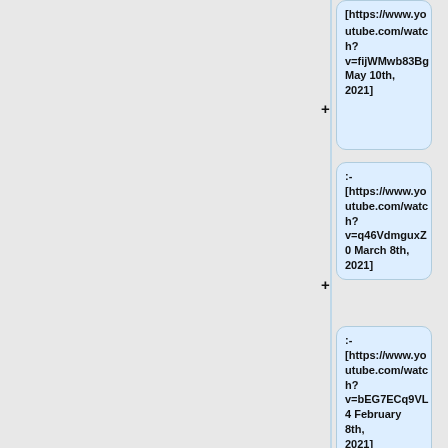:- [https://www.youtube.com/watch?v=fijWMwb83Bg May 10th, 2021]
:- [https://www.youtube.com/watch?v=q46VdmguxZ0 March 8th, 2021]
:- [https://www.youtube.com/watch?v=bEG7ECq9VL4 February 8th, 2021]
:-